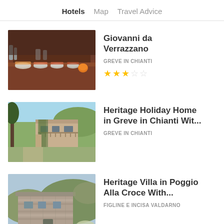Hotels  Map  Travel Advice
[Figure (photo): Buffet breakfast table with bowls and food items in warm indoor lighting]
Giovanni da Verrazzano
GREVE IN CHIANTI
★★★☆☆ (3 out of 5 stars)
[Figure (photo): Stone building with ivy-covered walls, balcony, trees and hillside in background]
Heritage Holiday Home in Greve in Chianti Wit...
GREVE IN CHIANTI
[Figure (photo): Old stone villa building exterior with mountain background]
Heritage Villa in Poggio Alla Croce With...
FIGLINE E INCISA VALDARNO